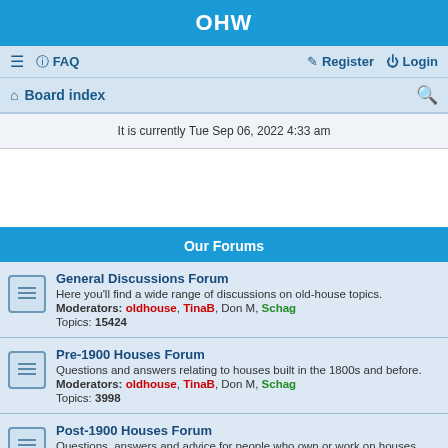OHW
≡  FAQ    Register  Login
Board index
It is currently Tue Sep 06, 2022 4:33 am
Our Forums
General Discussions Forum
Here you'll find a wide range of discussions on old-house topics.
Moderators: oldhouse, TinaB, Don M, Schag
Topics: 15424
Pre-1900 Houses Forum
Questions and answers relating to houses built in the 1800s and before.
Moderators: oldhouse, TinaB, Don M, Schag
Topics: 3998
Post-1900 Houses Forum
Questions, answers and advice for people who own or work on houses built during the 20th century.
Moderators: oldhouse, TinaB, Don M, Schag
Topics: 5434